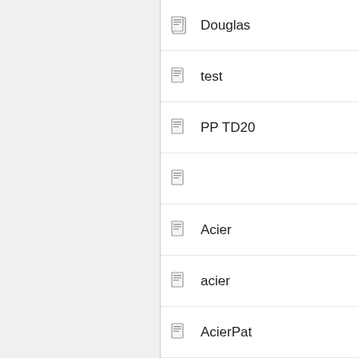Douglas
test
PP TD20
Acier
acier
AcierPat